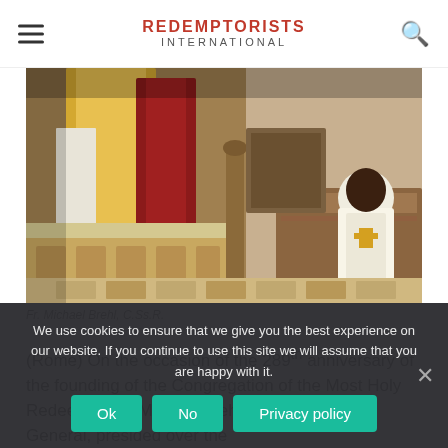REDEMPTORISTS International
[Figure (photo): Church interior during Mass: priests in vestments at altar, deacon seated in white robe, wooden furniture and decorated floor visible]
Fr. Michael Brehl, C.Ss.R.
(Rome) On the occasion of the 289th anniversary of the founding of the Congregation of the Most Holy Redeemer, Fr. Michael Brehl CSsR, Superior General, presided over the
We use cookies to ensure that we give you the best experience on our website. If you continue to use this site we will assume that you are happy with it.